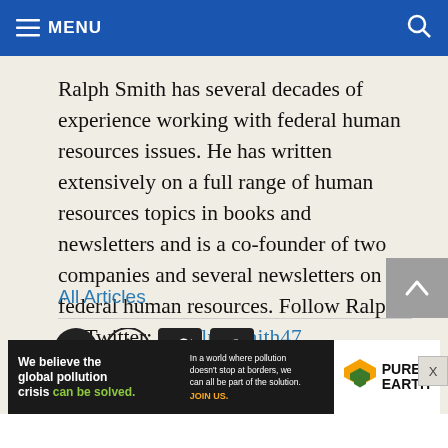MENU
Ralph Smith has several decades of experience working with federal human resources issues. He has written extensively on a full range of human resources topics in books and newsletters and is a co-founder of two companies and several newsletters on federal human resources. Follow Ralph on Twitter: @RalphSmith47
All Articles
[Figure (other): Social media icons: email, home, Twitter, Facebook]
[Figure (other): Pure Earth advertisement banner: 'We believe the global pollution crisis can be solved. In a world where pollution doesn't stop at borders, we can all be part of the solution. JOIN US.' with Pure Earth logo]